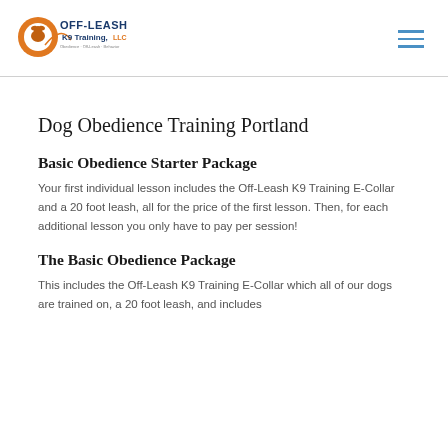[Figure (logo): Off-Leash K9 Training LLC logo with orange dog and blue text]
Dog Obedience Training Portland
Basic Obedience Starter Package
Your first individual lesson includes the Off-Leash K9 Training E-Collar and a 20 foot leash, all for the price of the first lesson. Then, for each additional lesson you only have to pay per session!
The Basic Obedience Package
This includes the Off-Leash K9 Training E-Collar which all of our dogs are trained on, a 20 foot leash, and includes